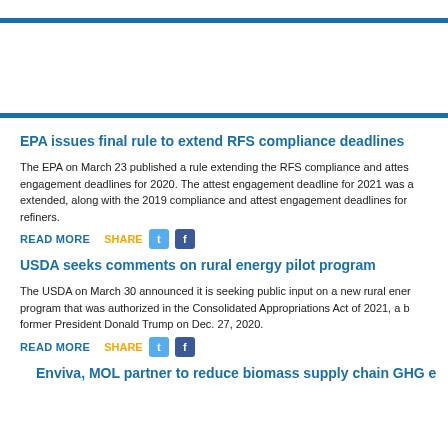EPA issues final rule to extend RFS compliance deadlines
The EPA on March 23 published a rule extending the RFS compliance and attest engagement deadlines for 2020. The attest engagement deadline for 2021 was also extended, along with the 2019 compliance and attest engagement deadlines for small refiners.
READ MORE   SHARE
USDA seeks comments on rural energy pilot program
The USDA on March 30 announced it is seeking public input on a new rural energy program that was authorized in the Consolidated Appropriations Act of 2021, a bill signed by former President Donald Trump on Dec. 27, 2020.
READ MORE   SHARE
Enviva, MOL partner to reduce biomass supply chain GHG e